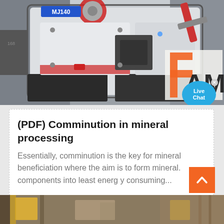[Figure (photo): Industrial machinery — a large hammer crusher or jaw crusher machine (model MJ140) in a factory setting, predominantly white and red/black body, with an orange and black 'AM' logo visible on the right side. A 'Live Chat' bubble overlay appears in the lower right of the image.]
(PDF) Comminution in mineral processing
Essentially, comminution is the key for mineral beneficiation where the aim is to form mineral. components into least energ y consuming...
[Figure (photo): Partial view of an industrial facility or plant at the bottom of the page, showing yellow machinery and structural elements.]